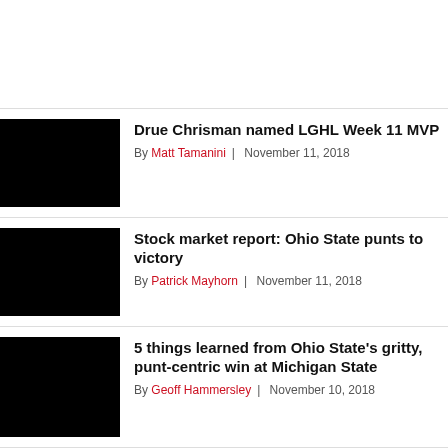Drue Chrisman named LGHL Week 11 MVP
By Matt Tamanini | November 11, 2018
Stock market report: Ohio State punts to victory
By Patrick Mayhorn | November 11, 2018
5 things learned from Ohio State's gritty, punt-centric win at Michigan State
By Geoff Hammersley | November 10, 2018